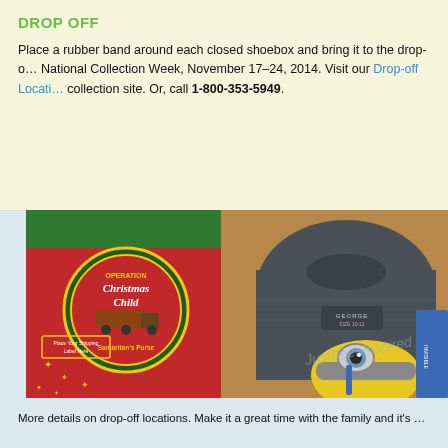DROP OFF
Place a rubber band around each closed shoebox and bring it to the drop-off location during National Collection Week, November 17–24, 2014. Visit our Drop-off Locations page to find a collection site. Or, call 1-800-353-5949.
[Figure (photo): Photo of an Operation Christmas Child shoebox (red and green box with 'Operation Christmas Child / Samaritan's Purse' logo) filled with a dark grey George brand shirt (size 10-12) and a Minion stuffed toy with yellow and grey coloring, along with other items, placed on a cardboard surface.]
More details on drop-off locations. Make it a great time with the family and it's...